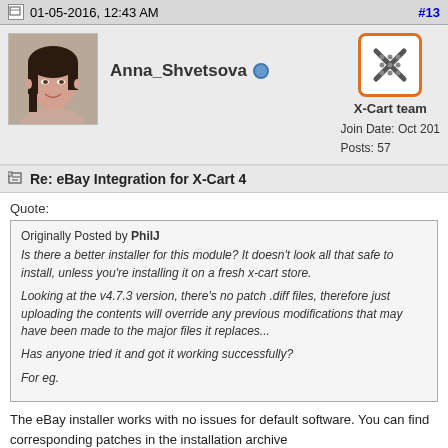01-05-2016, 12:43 AM   #13
[Figure (photo): Profile photo of Anna_Shvetsova, a woman with dark hair smiling]
Anna_Shvetsova (online)
[Figure (logo): X-Cart team badge/logo with grid icon and orange border]
Join Date: Oct 201
Posts: 57
Re: eBay Integration for X-Cart 4
Quote:
Originally Posted by PhilJ
Is there a better installer for this module? It doesn't look all that safe to install, unless you're installing it on a fresh x-cart store.

Looking at the v4.7.3 version, there's no patch .diff files, therefore just uploading the contents will override any previous modifications that may have been made to the major files it replaces...

Has anyone tried it and got it working successfully?

For eg.
The eBay installer works with no issues for default software. You can find corresponding patches in the installation archive https://drive.google.com/a/x-cart.com/folderview?id=0B5HGLTCz_J7vfkFRUlkwaS1QNm45dGZzSHJaajlUZmdGaE8wTVl...AxQnJZZkk#list
Using the patches, you can manually apply the necessary changes without using install.shop.php.